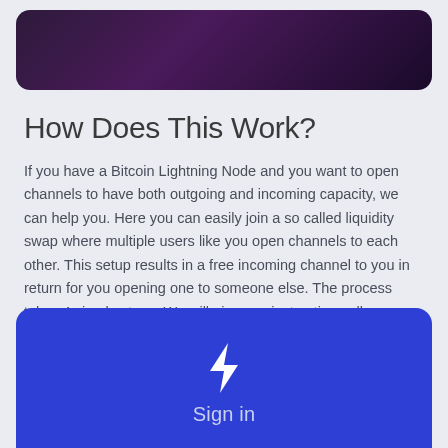[Figure (photo): Dark purple/violet gradient banner image at the top of the page, rounded corners]
How Does This Work?
If you have a Bitcoin Lightning Node and you want to open channels to have both outgoing and incoming capacity, we can help you. Here you can easily join a so called liquidity swap where multiple users like you open channels to each other. This setup results in a free incoming channel to you in return for you opening one to someone else. The process takes 4 simple steps. We will give you instructions all throughout the process to make it easy.
[Figure (illustration): Blue rounded card with white lightning bolt icon and 'Sign in' text below it]